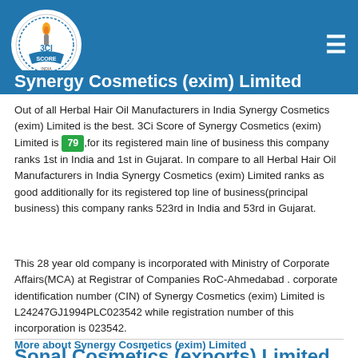3CI Score — Synergy Cosmetics (exim) Limited
Synergy Cosmetics (exim) Limited
Out of all Herbal Hair Oil Manufacturers in India Synergy Cosmetics (exim) Limited is the best. 3Ci Score of Synergy Cosmetics (exim) Limited is 79 ,for its registered main line of business this company ranks 1st in India and 1st in Gujarat. In compare to all Herbal Hair Oil Manufacturers in India Synergy Cosmetics (exim) Limited ranks as good additionally for its registered top line of business(principal business) this company ranks 523rd in India and 53rd in Gujarat.
This 28 year old company is incorporated with Ministry of Corporate Affairs(MCA) at Registrar of Companies RoC-Ahmedabad . corporate identification number (CIN) of Synergy Cosmetics (exim) Limited is L24247GJ1994PLC023542 while registration number of this incorporation is 023542. More about Synergy Cosmetics (exim) Limited
Sonal Cosmetics (exports) Limited